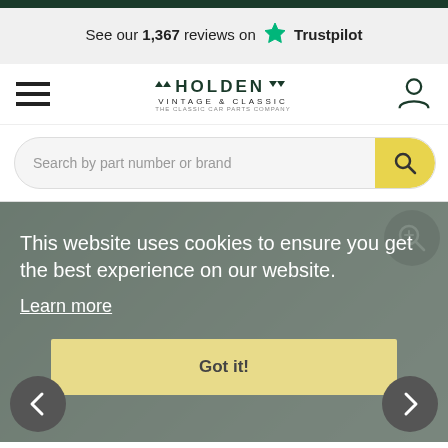See our 1,367 reviews on Trustpilot
[Figure (logo): Holden Vintage & Classic logo with wing motif]
Search by part number or brand
[Figure (screenshot): Product image of vintage car hardware/lock, with cookie consent overlay reading: This website uses cookies to ensure you get the best experience on our website. Learn more. Got it!]
This website uses cookies to ensure you get the best experience on our website.
Learn more
Got it!